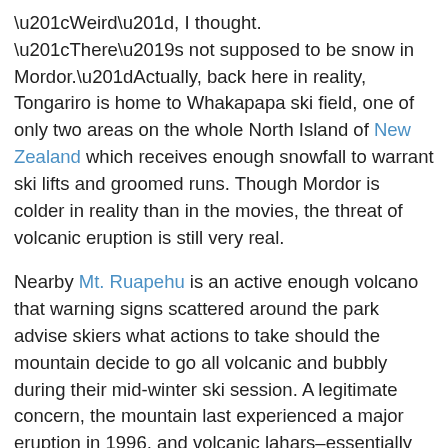“Weird”, I thought. “There’s not supposed to be snow in Mordor.”Actually, back here in reality, Tongariro is home to Whakapapa ski field, one of only two areas on the whole North Island of New Zealand which receives enough snowfall to warrant ski lifts and groomed runs. Though Mordor is colder in reality than in the movies, the threat of volcanic eruption is still very real.
Nearby Mt. Ruapehu is an active enough volcano that warning signs scattered around the park advise skiers what actions to take should the mountain decide to go all volcanic and bubbly during their mid-winter ski session. A legitimate concern, the mountain last experienced a major eruption in 1996, and volcanic lahars–essentially boiling rivers of mud–have been known to push their way down to within a few feet of chairlifts which regularly carry resort guests.
And, since Tongariro is still comprised of active volcanoes, it would make sense that there are hot springs, sulfuric lakes,